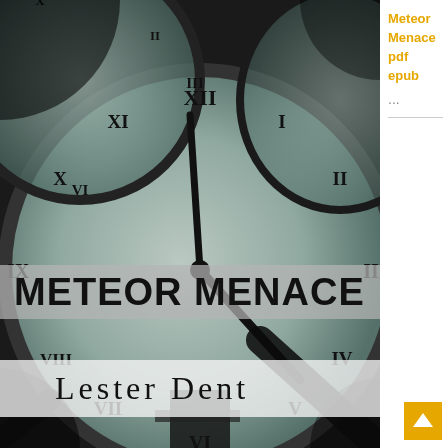[Figure (illustration): Book cover for 'Meteor Menace' by Lester Dent. Black and white dramatic close-up photograph of large Roman-numeral clock faces at extreme angles. A semi-transparent grey banner overlays the lower portion with the bold title 'METEOR MENACE' in large black uppercase letters. Below that, the author name 'Lester Dent' appears on a lighter background.]
Meteor Menace pdf epub ...